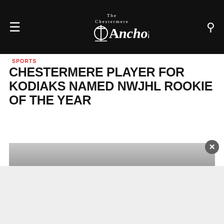The Chestermere Anchor — navigation bar with hamburger menu and search icon
SPORTS
CHESTERMERE PLAYER FOR KODIAKS NAMED NWJHL ROOKIE OF THE YEAR
5 months ago
Chestermere elite hockey prospect Nolan Bailey was named Rookie of the Year for the Dawson Creek Kodiaks. "Initially I was a little surprised when I got called...
[Figure (photo): Partial view of a photo related to the article, cropped at bottom of visible area]